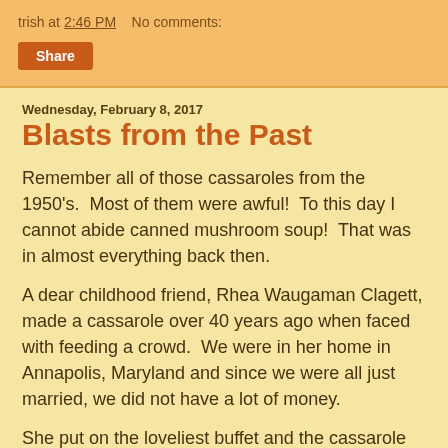trish at 2:46 PM    No comments:
Share
Wednesday, February 8, 2017
Blasts from the Past
Remember all of those cassaroles from the 1950's.  Most of them were awful!  To this day I cannot abide canned mushroom soup!  That was in almost everything back then.
A dear childhood friend, Rhea Waugaman Clagett, made a cassarole over 40 years ago when faced with feeding a crowd.  We were in her home in Annapolis, Maryland and since we were all just married, we did not have a lot of money.
She put on the loveliest buffet and the cassarole she made was Johnny Marzetti.  I just remember it had a number of some ingredients of cheese and...